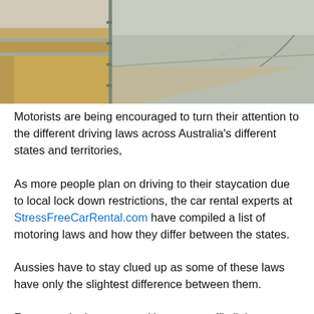[Figure (photo): A road scene in Australia with dry grass and a guardrail visible on the left, and a curved road in the background]
Motorists are being encouraged to turn their attention to the different driving laws across Australia's different states and territories,
As more people plan on driving to their staycation due to local lock down restrictions, the car rental experts at StressFreeCarRental.com have compiled a list of motoring laws and how they differ between the states.
Aussies have to stay clued up as some of these laws have only the slightest difference between them.
For example, in one state U-turns at traffic lights are permitted whilst in the others it's completely banned unless told